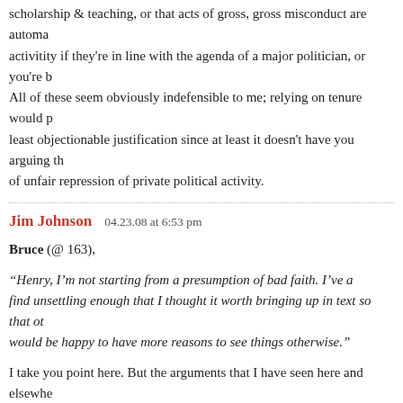scholarship & teaching, or that acts of gross, gross misconduct are automatically excused activitity if they're in line with the agenda of a major politician, or you're being repressed. All of these seem obviously indefensible to me; relying on tenure would probably be the least objectionable justification since at least it doesn't have you arguing the substance of unfair repression of private political activity.
Jim Johnson   04.23.08 at 6:53 pm
Bruce (@ 163),
“Henry, I’m not starting from a presumption of bad faith. I’ve argued things I find unsettling enough that I thought it worth bringing up in text so that others can see. I would be happy to have more reasons to see things otherwise.”
I take you point here. But the arguments that I have seen here and elsewhere, that I do not find persuasive, are simply that there are institutional venues like politics and law that would be far more effective in bringing Yoo and his ilk to task than anything a University might be justified in, doing. And frankly, no one takes up that point in this thread. Katherine gestures at it, although her reasons for so doing seem to me tenuous at best (on which